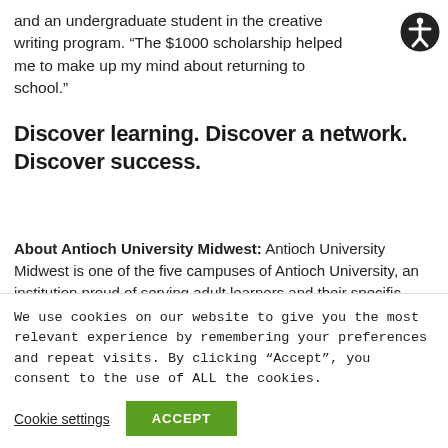and an undergraduate student in the creative writing program. “The $1000 scholarship helped me to make up my mind about returning to school.”
Discover learning. Discover a network. Discover success.
About Antioch University Midwest: Antioch University Midwest is one of the five campuses of Antioch University, an institution proud of serving adult learners and their specific needs
We use cookies on our website to give you the most relevant experience by remembering your preferences and repeat visits. By clicking “Accept”, you consent to the use of ALL the cookies.
Cookie settings
ACCEPT